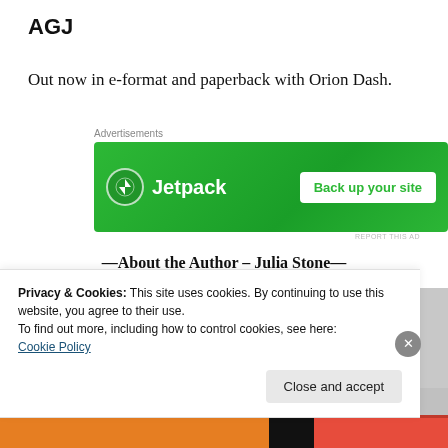AGJ
Out now in e-format and paperback with Orion Dash.
[Figure (screenshot): Jetpack advertisement banner with green background, Jetpack logo and lightning bolt icon on left, and 'Back up your site' white button on right]
—About the Author – Julia Stone—
[Figure (photo): Black and white photo of Julia Stone, showing the top of her head with dark hair against a grey background]
Privacy & Cookies: This site uses cookies. By continuing to use this website, you agree to their use.
To find out more, including how to control cookies, see here:
Cookie Policy
Close and accept